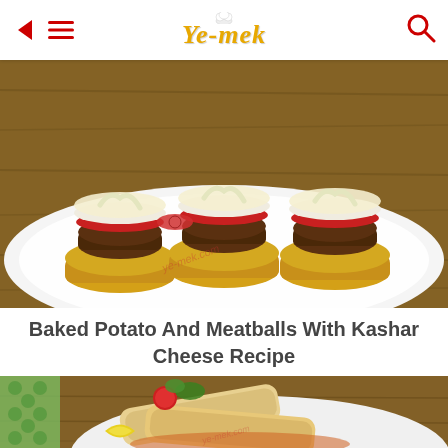Ye-mek (app header with back arrow, menu, logo, and search icon)
[Figure (photo): Photo of baked potato and meatballs topped with melted kashar (kaşar) cheese, tomato slices, and green peppers on a white plate, on a wooden surface. Watermark reads ye-mek.com]
Baked Potato And Meatballs With Kashar Cheese Recipe
[Figure (photo): Photo of a wrap/dürüm roll filled with meat on a white plate, garnished with cherry tomatoes, parsley, and a lemon wedge, on a wooden surface. Green polka dot fabric visible. Watermark reads ye-mek.com]